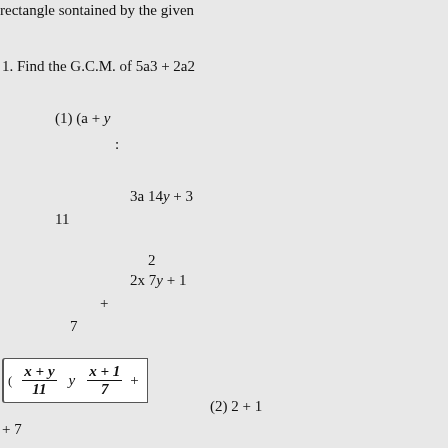rectangle sontained by the given
1. Find the G.C.M. of 5a3 + 2a2
2 3. A man travelled 105 miles longer in performing the journey
1. The length of a rectangular left 625 square yards for ploughi
2. Find in yards the diameter